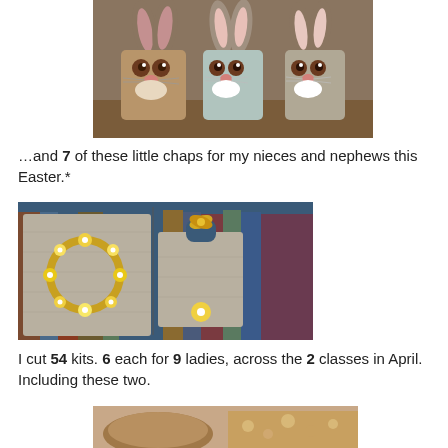[Figure (photo): Three handmade Easter bunny card holders made from brown and pastel colored paper/cardstock, arranged on a wooden surface. Each bunny has large ears, round eyes, and a nose with whiskers.]
…and 7 of these little chaps for my nieces and nephews this Easter.*
[Figure (photo): Two handmade craft projects: a square card with a yellow floral wreath, and a gable-style gift box decorated with yellow flowers and a bow, displayed in front of books.]
I cut 54 kits. 6 each for 9 ladies, across the 2 classes in April. Including these two.
[Figure (photo): Partial view of two baked goods or craft items on a surface, cropped at the bottom of the page.]